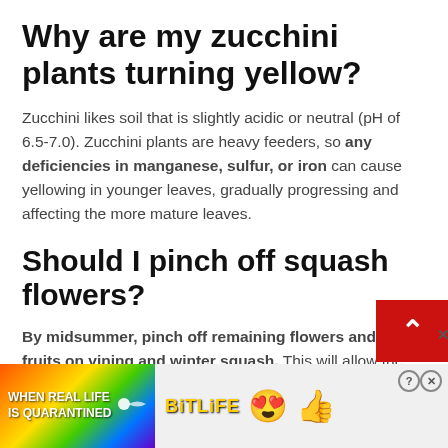Why are my zucchini plants turning yellow?
Zucchini likes soil that is slightly acidic or neutral (pH of 6.5-7.0). Zucchini plants are heavy feeders, so any deficiencies in manganese, sulfur, or iron can cause yellowing in younger leaves, gradually progressing and affecting the more mature leaves.
Should I pinch off squash flowers?
By midsummer, pinch off remaining flowers and small fruits on vining and winter squash. This will allow the plant to focus its energy on the ripening crop.
[Figure (screenshot): Advertisement banner for BitLife game with rainbow background, showing 'WHEN REAL LIFE IS QUARANTINED' text and star-eyes emoji with mask emoji]